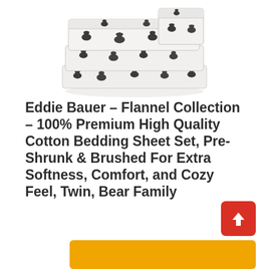[Figure (photo): Folded flannel sheet set with bear family pattern on white/light grey background, stacked neatly showing multiple sheets]
Eddie Bauer – Flannel Collection – 100% Premium High Quality Cotton Bedding Sheet Set, Pre-Shrunk & Brushed For Extra Softness, Comfort, and Cozy Feel, Twin, Bear Family